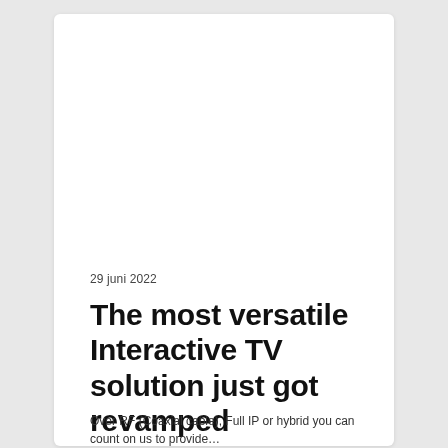29 juni 2022
The most versatile Interactive TV solution just got revamped
Over RF (Coaxial cable), Full IP or hybrid you can count on us to provide…